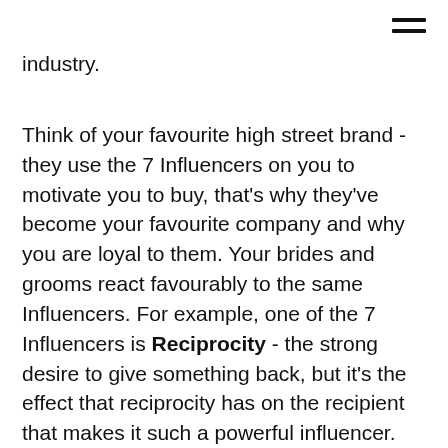[Figure (other): Hamburger menu icon (three horizontal lines) in top-right corner]
industry.
Think of your favourite high street brand - they use the 7 Influencers on you to motivate you to buy, that's why they've become your favourite company and why you are loyal to them. Your brides and grooms react favourably to the same Influencers. For example, one of the 7 Influencers is Reciprocity - the strong desire to give something back, but it's the effect that reciprocity has on the recipient that makes it such a powerful influencer. For example, imaging you hook-up with a friend for lunch, and they unexpectedly give you a gift... but you have nothing to give back! Ouch! How would you feel? Surprised? Grateful? I bet at a minimum you'd wished you had something to give